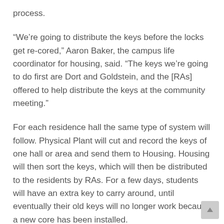process.
“We’re going to distribute the keys before the locks get re-cored,” Aaron Baker, the campus life coordinator for housing, said. “The keys we’re going to do first are Dort and Goldstein, and the [RAs] offered to help distribute the keys at the community meeting.”
For each residence hall the same type of system will follow. Physical Plant will cut and record the keys of one hall or area and send them to Housing. Housing will then sort the keys, which will then be distributed to the residents by RAs. For a few days, students will have an extra key to carry around, until eventually their old keys will no longer work because a new core has been installed.